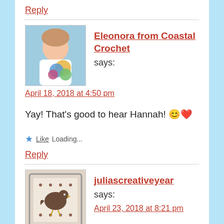Reply
[Figure (photo): Avatar photo of Eleonora from Coastal Crochet showing a woman holding a colorful crochet project outdoors]
Eleonora from Coastal Crochet says:
April 18, 2018 at 4:50 pm
Yay! That's good to hear Hannah! 😊❤
Like Loading...
Reply
[Figure (photo): Avatar image for juliascreativeyear showing a decorative craft item]
juliascreativeyear says:
April 23, 2018 at 8:21 pm
Thank you for the nice...